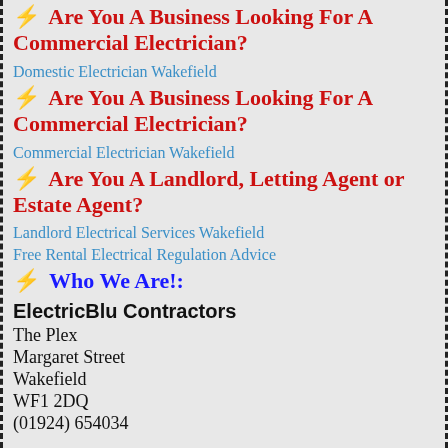⚡ Are You A Business Looking For A Commercial Electrician?
Domestic Electrician Wakefield
⚡ Are You A Business Looking For A Commercial Electrician?
Commercial Electrician Wakefield
⚡ Are You A Landlord, Letting Agent or Estate Agent?
Landlord Electrical Services Wakefield
Free Rental Electrical Regulation Advice
⚡ Who We Are!:
ElectricBlu Contractors
The Plex
Margaret Street
Wakefield
WF1 2DQ
(01924) 654034